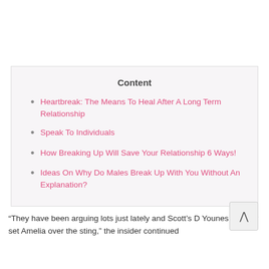Content
Heartbreak: The Means To Heal After A Long Term Relationship
Speak To Individuals
How Breaking Up Will Save Your Relationship 6 Ways!
Ideas On Why Do Males Break Up With You Without An Explanation?
“They have been arguing lots just lately and Scott’s D Younes actually set Amelia over the sting,” the insider continued